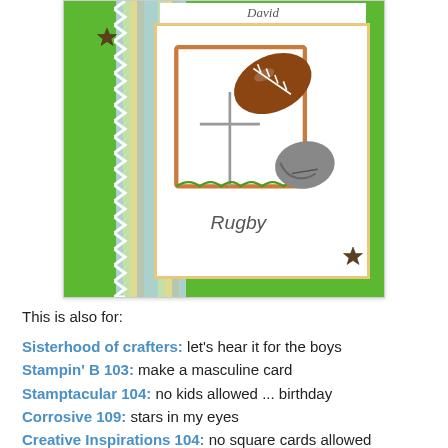[Figure (photo): Handmade greeting card with green background, striped paper strip, zigzag white border strip, white card insert with football/rugby imagery, stars embellishments, and 'Rugby' text. Name 'David' visible at top.]
This is also for:
Sisterhood of crafters: let's hear it for the boys
Stampin' B 103: make a masculine card
Stamptacular 104: no kids allowed ... birthday
Corrosive 109: stars in my eyes
Creative Inspirations 104: no square cards allowed